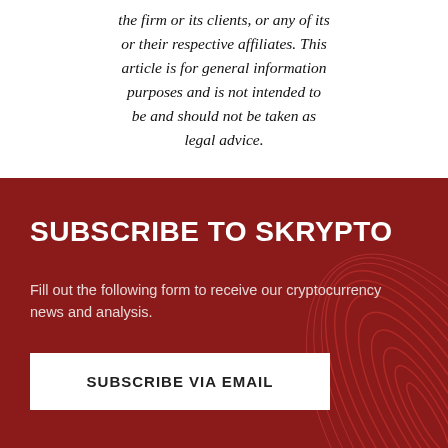the firm or its clients, or any of its or their respective affiliates. This article is for general information purposes and is not intended to be and should not be taken as legal advice.
[Figure (infographic): Dark red banner with white bold text 'SUBSCRIBE TO SKRYPTO', subscription description text, a white 'SUBSCRIBE VIA EMAIL' button, and decorative red swirl lines on the right side.]